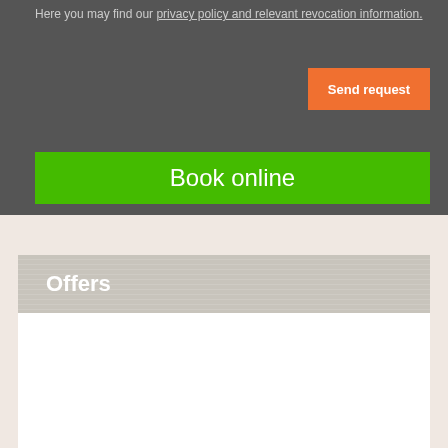Here you may find our privacy policy and relevant revocation information.
Send request
Book online
Offers